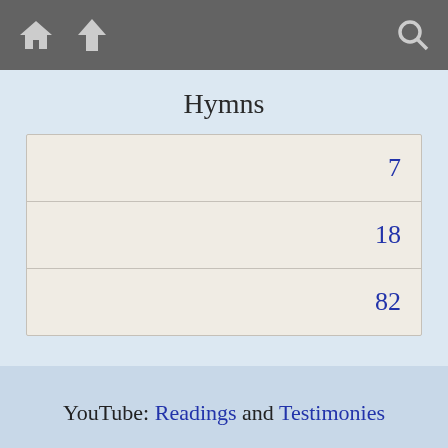Navigation bar with home, up, and search icons
Hymns
| 7 |
| 18 |
| 82 |
YouTube: Readings and Testimonies
Vimeo: Readings and Testimonies
Listen to the entire meeting here or on